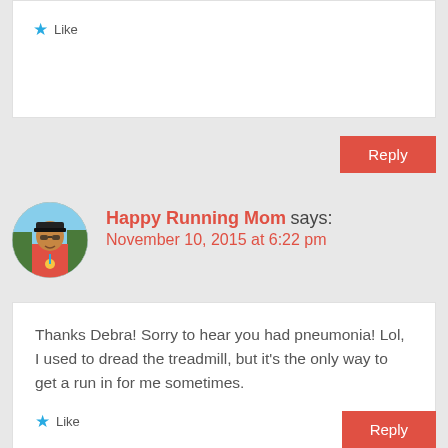Like
Reply
Happy Running Mom says:
November 10, 2015 at 6:22 pm
[Figure (photo): Circular avatar photo of Happy Running Mom, a woman in a red running shirt with a medal, outdoors]
Thanks Debra! Sorry to hear you had pneumonia! Lol, I used to dread the treadmill, but it's the only way to get a run in for me sometimes.
Like
Reply